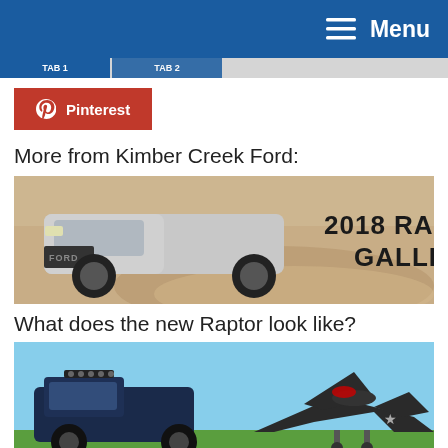≡ Menu
[Figure (screenshot): Pinterest share button in red with Pinterest icon and text]
More from Kimber Creek Ford:
[Figure (photo): Ford Raptor truck driving through sand dunes with text '2018 RAPTOR GALLERY']
What does the new Raptor look like?
[Figure (photo): Side-by-side photo of a Ford Raptor truck and an F-22 Raptor military jet on an airfield]